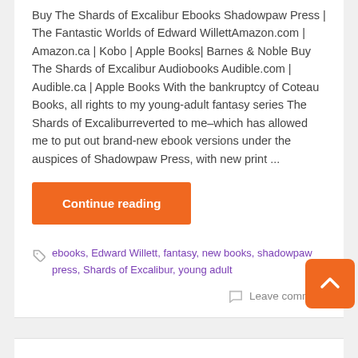Buy The Shards of Excalibur Ebooks Shadowpaw Press | The Fantastic Worlds of Edward WillettAmazon.com | Amazon.ca | Kobo | Apple Books| Barnes & Noble Buy The Shards of Excalibur Audiobooks Audible.com | Audible.ca | Apple Books With the bankruptcy of Coteau Books, all rights to my young-adult fantasy series The Shards of Excaliburreverted to me–which has allowed me to put out brand-new ebook versions under the auspices of Shadowpaw Press, with new print ...
Continue reading
ebooks, Edward Willett, fantasy, new books, shadowpaw press, Shards of Excalibur, young adult
Leave comment